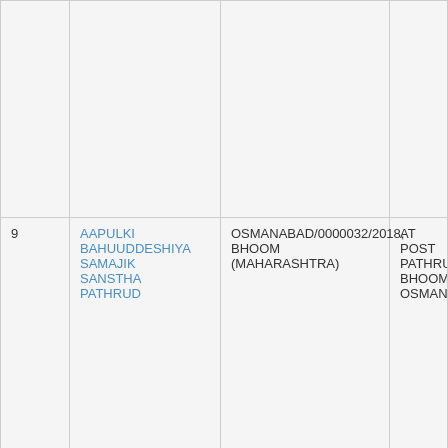| # | Name | Registration | Address |
| --- | --- | --- | --- |
|  |  |  |  |
| 9 | AAPULKI BAHUUDDESHIYA SAMAJIK SANSTHA PATHRUD | OSMANABAD/0000032/2018, BHOOM (MAHARASHTRA) | AT POST PATHRU BHOOM OSMANA... |